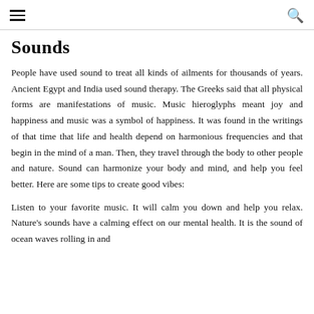≡ [hamburger menu] [search icon]
Sounds
People have used sound to treat all kinds of ailments for thousands of years. Ancient Egypt and India used sound therapy. The Greeks said that all physical forms are manifestations of music. Music hieroglyphs meant joy and happiness and music was a symbol of happiness. It was found in the writings of that time that life and health depend on harmonious frequencies and that begin in the mind of a man. Then, they travel through the body to other people and nature. Sound can harmonize your body and mind, and help you feel better. Here are some tips to create good vibes:
Listen to your favorite music. It will calm you down and help you relax. Nature's sounds have a calming effect on our mental health. It is the sound of ocean waves rolling in and